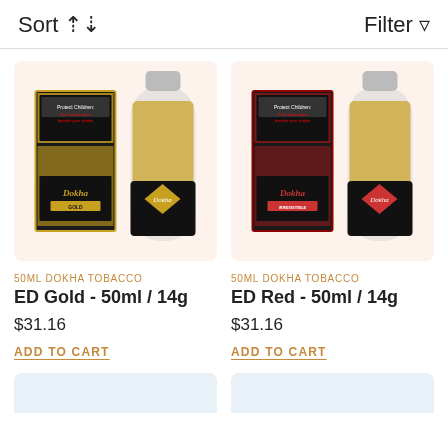Sort ⇅ Filter ▽
[Figure (photo): ED Gold 50ml Dokha tobacco product – box with health warning and a glass bottle with gold granules, black and gold label with Dokha branding]
50ML DOKHA TOBACCO
ED Gold - 50ml / 14g
$31.16
ADD TO CART
[Figure (photo): ED Red 50ml Dokha tobacco product – box with health warning and a glass bottle with gold granules, black and red label with Dokha branding]
50ML DOKHA TOBACCO
ED Red - 50ml / 14g
$31.16
ADD TO CART